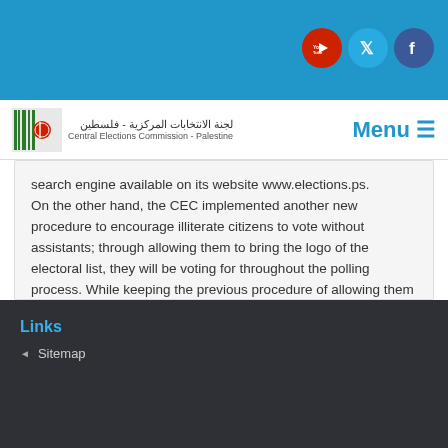[Figure (logo): YouTube, Twitter, and Facebook social media icons in circular buttons on blue header bar]
[Figure (logo): Central Elections Commission - Palestine logo with Arabic text and barcode-style emblem]
Menu
search engine available on its website www.elections.ps.
On the other hand, the CEC implemented another new procedure to encourage illiterate citizens to vote without assistants; through allowing them to bring the logo of the electoral list, they will be voting for throughout the polling process. While keeping the previous procedure of allowing them to bring one assistant to a polling station if they so choose, to help them fill the ballot.
Print
Links
Sitemap